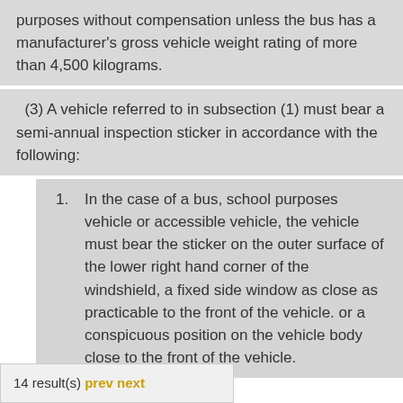purposes without compensation unless the bus has a manufacturer's gross vehicle weight rating of more than 4,500 kilograms.
(3) A vehicle referred to in subsection (1) must bear a semi-annual inspection sticker in accordance with the following:
1. In the case of a bus, school purposes vehicle or accessible vehicle, the vehicle must bear the sticker on the outer surface of the lower right hand corner of the windshield, a fixed side window as close as practicable to the front of the vehicle. or a conspicuous position on the vehicle body close to the front of the vehicle.
14 result(s) prev next